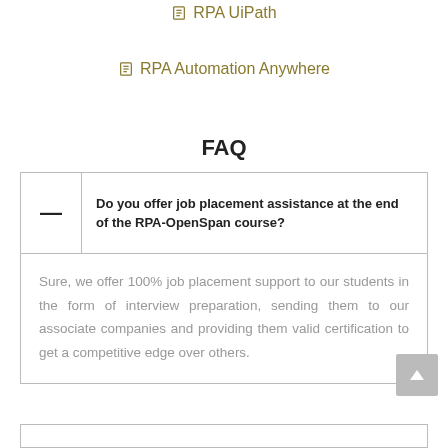RPA UiPath
RPA Automation Anywhere
FAQ
| — | Do you offer job placement assistance at the end of the RPA-OpenSpan course? |
|  | Sure, we offer 100% job placement support to our students in the form of interview preparation, sending them to our associate companies and providing them valid certification to get a competitive edge over others. |